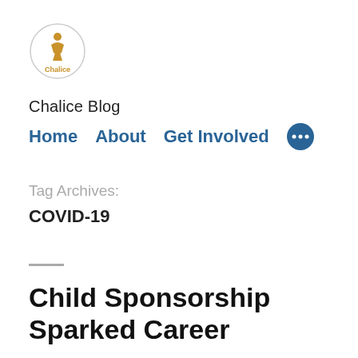[Figure (logo): Chalice organization logo: circular border with a chalice/person icon in gold and the word 'Chalice' beneath it in gold text]
Chalice Blog
Home   About   Get Involved   •••
Tag Archives: COVID-19
Child Sponsorship Sparked Career